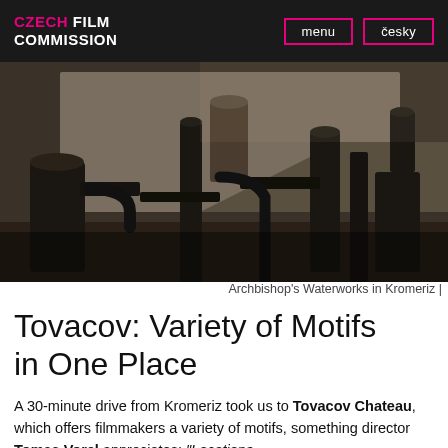CZECH FILM COMMISSION | menu | česky
[Figure (photo): Industrial machinery — dark metal pipes, valves and cylindrical components inside a stone building. Archbishop's Waterworks in Kromeriz.]
Archbishop's Waterworks in Kromeriz |
Tovacov: Variety of Motifs in One Place
A 30-minute drive from Kromeriz took us to Tovacov Chateau, which offers filmmakers a variety of motifs, something director Tomas Vorel appreciates: "Locations